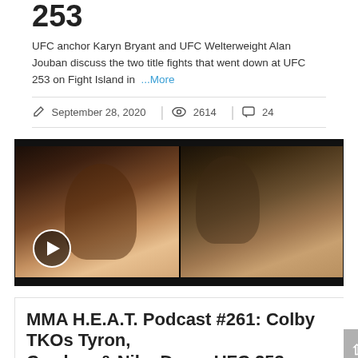253
UFC anchor Karyn Bryant and UFC Welterweight Alan Jouban discuss the two title fights that went down at UFC 253 on Fight Island in  ...More
September 28, 2020   2614   24
[Figure (screenshot): Video thumbnail showing two people on a video call with UFC fighter promotional images on left and right sides. A play button is visible in the lower left.]
MMA H.E.A.T. Podcast #261: Colby TKOs Tyron, Cowboy & Niko Draw; UFC 253 Preview!